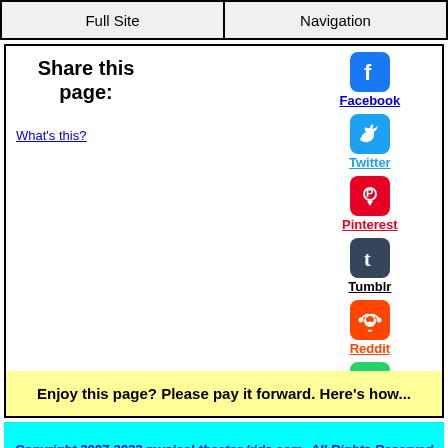Full Site | Navigation
Share this page:
What's this?
[Figure (logo): Facebook icon - blue rounded square with white F]
Facebook
[Figure (logo): Twitter icon - cyan rounded square with white bird]
Twitter
[Figure (logo): Pinterest icon - red rounded square with white P]
Pinterest
[Figure (logo): Tumblr icon - dark rounded square with white t]
Tumblr
[Figure (logo): Reddit icon - orange rounded square with white alien]
Reddit
[Figure (logo): WhatsApp icon - green rounded square with white phone]
WhatsApp
Enjoy this page? Please pay it forward. Here's how...
Copyright 2007-2022 musical-theater-kids.com -All Rights Reserved